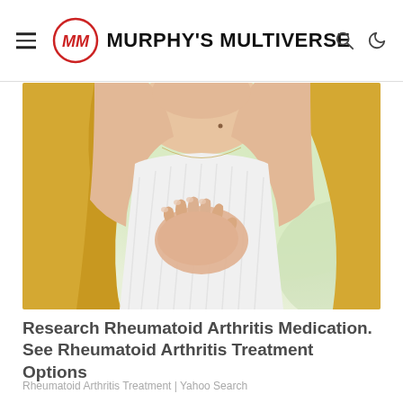Murphy's Multiverse
[Figure (photo): Woman in white sleeveless top holding her hand against her chest, suggesting joint pain or arthritis discomfort, blurred green background]
Research Rheumatoid Arthritis Medication. See Rheumatoid Arthritis Treatment Options
Rheumatoid Arthritis Treatment | Yahoo Search